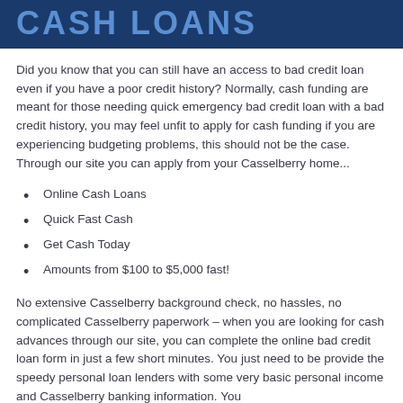CASH LOANS
Did you know that you can still have an access to bad credit loan even if you have a poor credit history? Normally, cash funding are meant for those needing quick emergency bad credit loan with a bad credit history, you may feel unfit to apply for cash funding if you are experiencing budgeting problems, this should not be the case. Through our site you can apply from your Casselberry home...
Online Cash Loans
Quick Fast Cash
Get Cash Today
Amounts from $100 to $5,000 fast!
No extensive Casselberry background check, no hassles, no complicated Casselberry paperwork – when you are looking for cash advances through our site, you can complete the online bad credit loan form in just a few short minutes. You just need to be provide the speedy personal loan lenders with some very basic personal income and Casselberry banking information. You